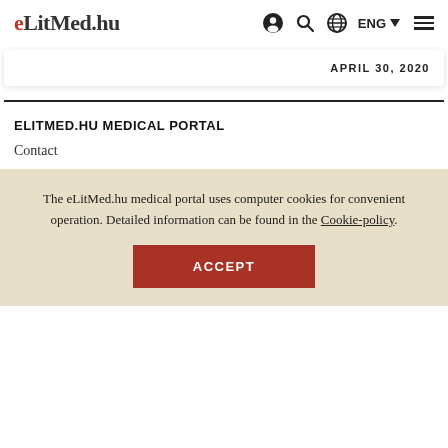eLitMed.hu — navigation bar with logo, icons, ENG language selector, and hamburger menu
APRIL 30, 2020
ELITMED.HU MEDICAL PORTAL
Contact
The eLitMed.hu medical portal uses computer cookies for convenient operation. Detailed information can be found in the Cookie-policy.
ACCEPT